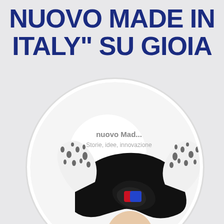NUOVO MADE IN ITALY" SU GIOIA
[Figure (illustration): A white circle on a light grey background containing an illustrated female figure wearing a dramatic black structured hat/headpiece with black-and-white patterned fabric wings, large black sunglasses with colorful (red and blue) lens accent, gold hoop earrings, and a beauty mark. The circle also contains app UI text reading 'nuovo Mad...' and 'Storie, idee, innovazione'. A white/light orb shape appears in the upper portion of the circle behind the figure.]